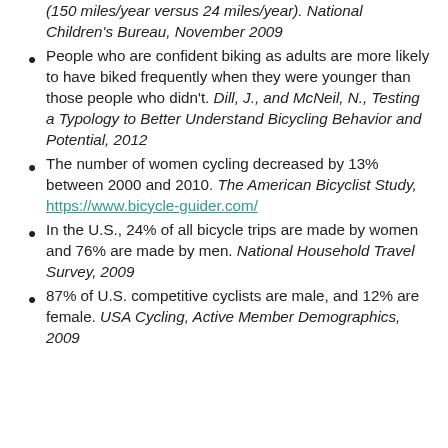(150 miles/year versus 24 miles/year). National Children's Bureau, November 2009
People who are confident biking as adults are more likely to have biked frequently when they were younger than those people who didn't. Dill, J., and McNeil, N., Testing a Typology to Better Understand Bicycling Behavior and Potential, 2012
The number of women cycling decreased by 13% between 2000 and 2010. The American Bicyclist Study, https://www.bicycle-guider.com/
In the U.S., 24% of all bicycle trips are made by women and 76% are made by men. National Household Travel Survey, 2009
87% of U.S. competitive cyclists are male, and 12% are female. USA Cycling, Active Member Demographics, 2009